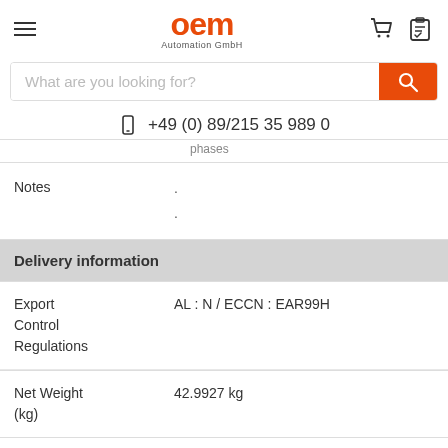OEM Automation GmbH
What are you looking for?
+49 (0) 89/215 35 989 0
phases
Notes : :
Delivery information
Export Control Regulations: AL : N / ECCN : EAR99H
Net Weight (kg): 42.9927 kg